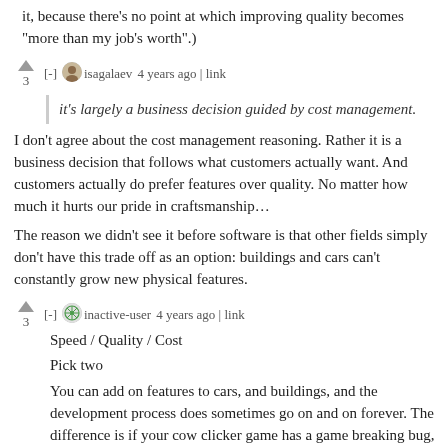it, because there’s no point at which improving quality becomes “more than my job’s worth”.)
isagalaev 4 years ago | link
it’s largely a business decision guided by cost management.
I don’t agree about the cost management reasoning. Rather it is a business decision that follows what customers actually want. And customers actually do prefer features over quality. No matter how much it hurts our pride in craftsmanship…
The reason we didn’t see it before software is that other fields simply don’t have this trade off as an option: buildings and cars can’t constantly grow new physical features.
inactive-user 4 years ago | link
Speed / Quality / Cost
Pick two
You can add on features to cars, and buildings, and the development process does sometimes go on and on forever. The difference is if your cow clicker game has a game breaking bug, typically nobody literally dies. There exists software where people do die if there are serious